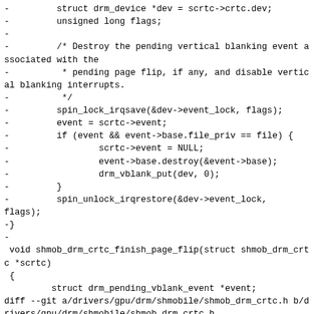-         struct drm_device *dev = scrtc->crtc.dev;
-         unsigned long flags;
-
-         /* Destroy the pending vertical blanking event associated with the
-          * pending page flip, if any, and disable vertical blanking interrupts.
-          */
-         spin_lock_irqsave(&dev->event_lock, flags);
-         event = scrtc->event;
-         if (event && event->base.file_priv == file) {
-                 scrtc->event = NULL;
-                 event->base.destroy(&event->base);
-                 drm_vblank_put(dev, 0);
-         }
-         spin_unlock_irqrestore(&dev->event_lock,
flags);
-}
-
 void shmob_drm_crtc_finish_page_flip(struct shmob_drm_crtc *scrtc)
 {
         struct drm_pending_vblank_event *event;
diff --git a/drivers/gpu/drm/shmobile/shmob_drm_crtc.h b/drivers/gpu/drm/shmobile/shmob_drm_crtc.h
index eddad6dcc88a..38ed4ff8aaf2 100644
--- a/drivers/gpu/drm/shmobile/shmob_drm_crtc.h
+++ b/drivers/gpu/drm/shmobile/shmob_drm_crtc.h
@@ -47,8 +47,6 @@ struct shmob_drm_connector {